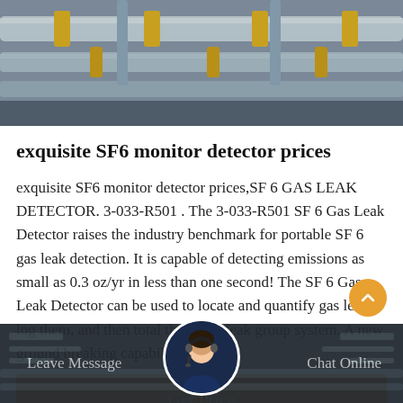[Figure (photo): Industrial pipes and equipment, overhead view with metal pipes and yellow fittings against a grayish background]
exquisite SF6 monitor detector prices
exquisite SF6 monitor detector prices,SF 6 GAS LEAK DETECTOR. 3-033-R501 . The 3-033-R501 SF 6 Gas Leak Detector raises the industry benchmark for portable SF 6 gas leak detection. It is capable of detecting emissions as small as 0.3 oz/yr in less than one second! The SF 6 Gas Leak Detector can be used to locate and quantify gas leaks, log them, and then total them in a leak group system. A new ground breaking capability has also
[Figure (other): Orange 'Get Price' button]
Leave Message   Chat Online